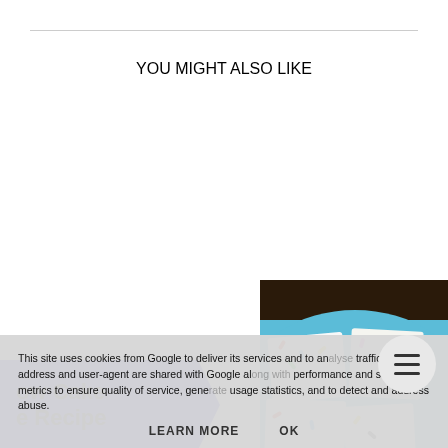YOU MIGHT ALSO LIKE
[Figure (illustration): Blue arrow/banner shape with text 'ow Cake e Recipe' (partially visible), and red arrow/banner with 'mmytothemax.co.uk'. Food photo of sprinkle-covered white fudge squares on a blue plate with dark wood background.]
This site uses cookies from Google to deliver its services and to analyse traffic. Your IP address and user-agent are shared with Google along with performance and security metrics to ensure quality of service, generate usage statistics, and to detect and address abuse.
LEARN MORE   OK